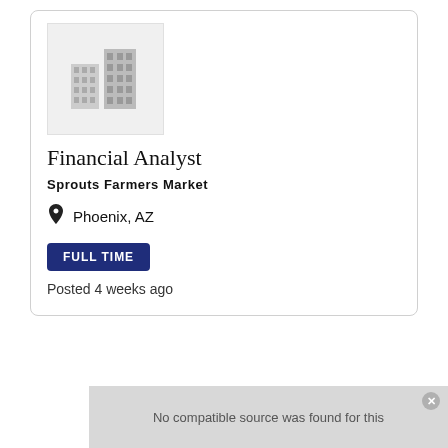[Figure (logo): Company placeholder logo with grey building icons on light grey background]
Financial Analyst
Sprouts Farmers Market
Phoenix, AZ
FULL TIME
Posted 4 weeks ago
[Figure (screenshot): No compatible source was found for this]